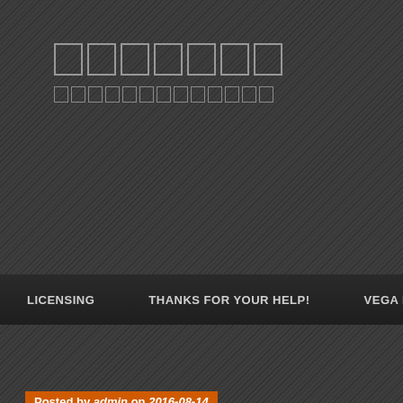[Figure (screenshot): Website header with diagonal striped dark background, showing placeholder boxes for site title and subtitle in Thai/non-latin characters]
LICENSING    THANKS FOR YOUR HELP!    VEGA HUNTER
GAME
Posted by admin on 2016-08-14
Pokemon Go – [Thai characters] NecroBot GUI
Posted in: Pokemon Go. Tagged: necrobot. Leave a Comment
[Thai text] Necrobot [Thai text]
[Thai text partial]